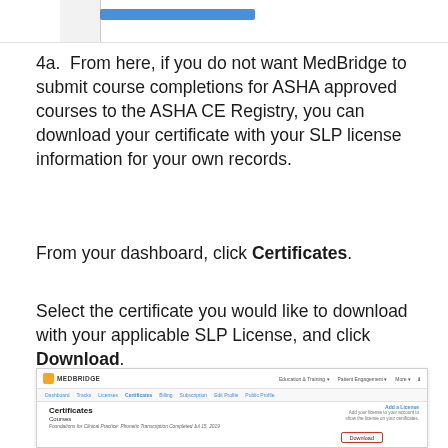[Figure (screenshot): Top of page showing a blue button/bar above a white page corner area]
4a.  From here, if you do not want MedBridge to submit course completions for ASHA approved courses to the ASHA CE Registry, you can download your certificate with your SLP license information for your own records.
From your dashboard, click Certificates.
Select the certificate you would like to download with your applicable SLP License, and click Download.
[Figure (screenshot): MedBridge website screenshot showing the Certificates page with a course listing and a Download button highlighted with a red rectangle border. Navigation bar shows Education & Training, Patient Engagement, More menus. Sub-navigation shows Dashboard, Tracks, Licenses, Certificates (active), Billing, Subscription, Edit Profile, Public Profile tabs. Page title is Certificates with Courses section showing Foundations for Clinical Practice: Phonetic Transcription Completed Jul 15, 2019.]